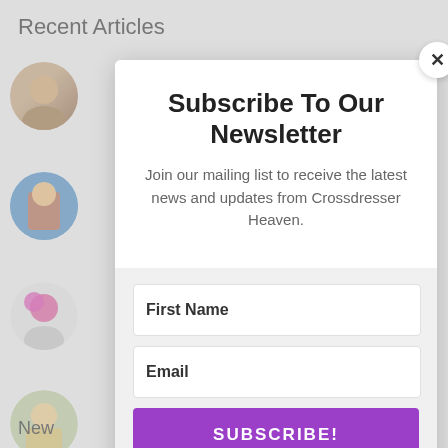Recent Articles
[Figure (photo): Circular avatar photo 1 (older person)]
[Figure (photo): Circular avatar photo 2 (colorful outfit)]
[Figure (photo): Circular avatar photo 3 (pink hair)]
[Figure (photo): Circular avatar photo 4 (outdoor)]
Subscribe To Our Newsletter
Join our mailing list to receive the latest news and updates from Crossdresser Heaven.
First Name
Email
SUBSCRIBE!
We hate spam too, unsubscribe at any time.
New
Reply
7 min